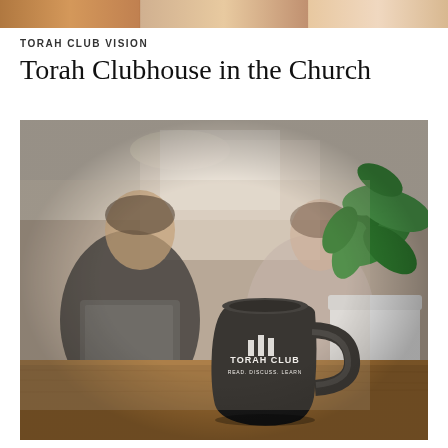[Figure (photo): Top strip showing partial image of people, cropped at top of page]
TORAH CLUB VISION
Torah Clubhouse in the Church
[Figure (photo): Photograph of a black Torah Club branded mug on a wooden table in the foreground, with two blurred men reading books in the background and a green plant in a white pot to the right]